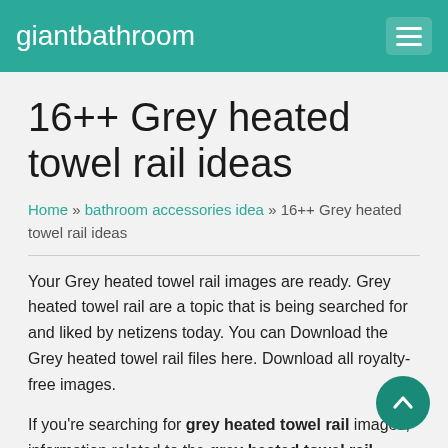giantbathroom
16++ Grey heated towel rail ideas
Home » bathroom accessories idea » 16++ Grey heated towel rail ideas
Your Grey heated towel rail images are ready. Grey heated towel rail are a topic that is being searched for and liked by netizens today. You can Download the Grey heated towel rail files here. Download all royalty-free images.
If you're searching for grey heated towel rail images, information related to the grey heated towel rail keyword, you have come to the right blog. Our website always provides you with suggestions for seeing the